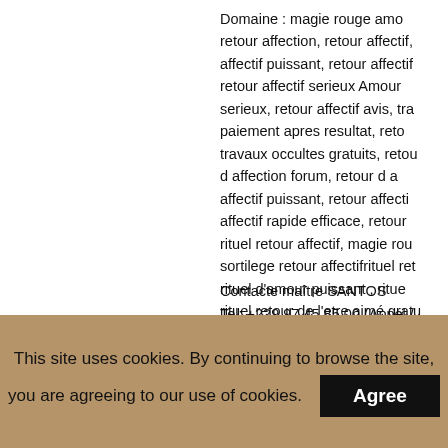Domaine : magie rouge amo retour affection, retour affectif, affectif puissant, retour affectif retour affectif serieux Amour serieux, retour affectif avis, tra paiement apres resultat, reto travaux occultes gratuits, retou d affection forum, retour d a affectif puissant, retour affecti affectif rapide efficace, retour rituel retour affectif, magie rou sortilege retour affectifrituel ret rituel d'amour puissant , ritue rituel retour de l'etre aimé gratu
Contacte maître SANTOS
Tel: +229 97 45 85 00 (Appel /
Email: le.maitre.santos7@gma
Instagram : maitre_santos
This site uses cookies. By continuing to browse the site, you are agreeing to our use of cookies.